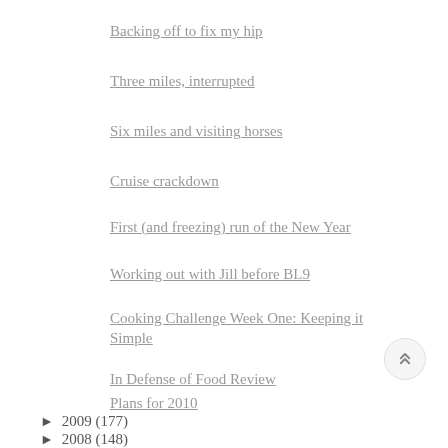Backing off to fix my hip
Three miles, interrupted
Six miles and visiting horses
Cruise crackdown
First (and freezing) run of the New Year
Working out with Jill before BL9
Cooking Challenge Week One: Keeping it Simple
In Defense of Food Review
Plans for 2010
► 2009 (177)
► 2008 (148)
► 2007 (102)